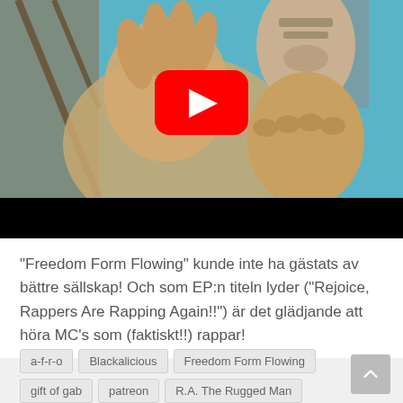[Figure (screenshot): YouTube video thumbnail showing a person wearing a mask with hands raised outdoors under a blue sky, with a red YouTube play button overlay in the center. The bottom portion of the video player is black.]
“Freedom Form Flowing” kunde inte ha gästats av bättre sällskap! Och som EP:n titeln lyder (“Rejoice, Rappers Are Rapping Again!!”) är det glädjande att höra MC’s som (faktiskt!!) rappar!
a-f-r-o
Blackalicious
Freedom Form Flowing
gift of gab
patreon
R.A. The Rugged Man